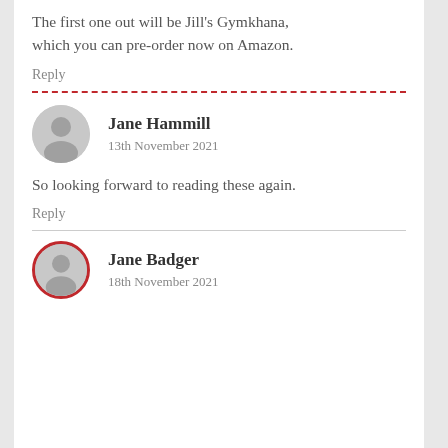The first one out will be Jill's Gymkhana, which you can pre-order now on Amazon.
Reply
Jane Hammill
13th November 2021
So looking forward to reading these again.
Reply
Jane Badger
18th November 2021